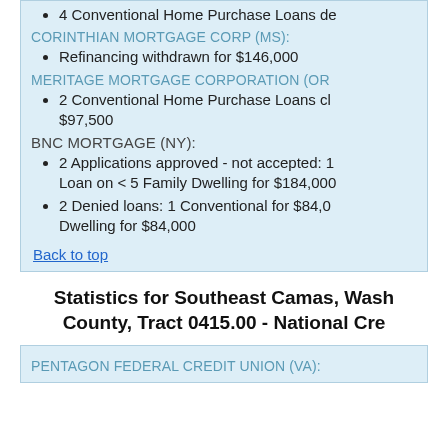4 Conventional Home Purchase Loans de…
CORINTHIAN MORTGAGE CORP (MS):
Refinancing withdrawn for $146,000
MERITAGE MORTGAGE CORPORATION (OR…
2 Conventional Home Purchase Loans cl… $97,500
BNC MORTGAGE (NY):
2 Applications approved - not accepted: 1… Loan on < 5 Family Dwelling for $184,000
2 Denied loans: 1 Conventional for $84,00… Dwelling for $84,000
Back to top
Statistics for Southeast Camas, Washington County, Tract 0415.00 - National Cre…
PENTAGON FEDERAL CREDIT UNION (VA):